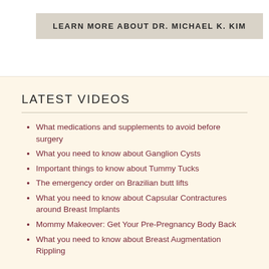LEARN MORE ABOUT DR. MICHAEL K. KIM
LATEST VIDEOS
What medications and supplements to avoid before surgery
What you need to know about Ganglion Cysts
Important things to know about Tummy Tucks
The emergency order on Brazilian butt lifts
What you need to know about Capsular Contractures around Breast Implants
Mommy Makeover: Get Your Pre-Pregnancy Body Back
What you need to know about Breast Augmentation Rippling